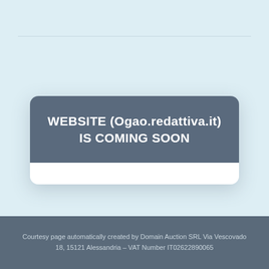WEBSITE (Ogao.redattiva.it) IS COMING SOON
Courtesy page automatically created by Domain Auction SRL Via Vescovado 18, 15121 Alessandria – VAT Number IT02622890065